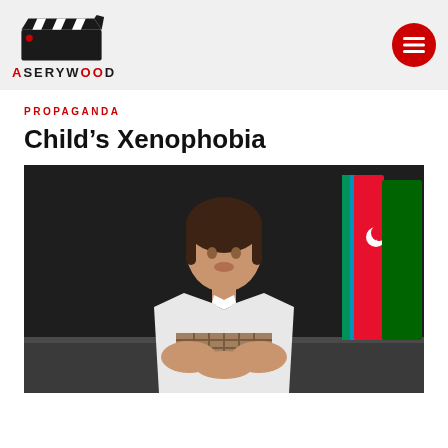ASERYWOOD
PROPAGANDA
Child’s Xenophobia
[Figure (photo): A young girl in a white polo shirt with plaid detail sits at a table with hands clasped, in front of a dark background with Azerbaijani flags visible to the right.]